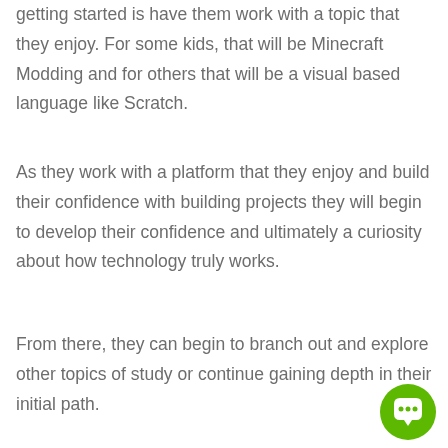getting started is have them work with a topic that they enjoy. For some kids, that will be Minecraft Modding and for others that will be a visual based language like Scratch.
As they work with a platform that they enjoy and build their confidence with building projects they will begin to develop their confidence and ultimately a curiosity about how technology truly works.
From there, they can begin to branch out and explore other topics of study or continue gaining depth in their initial path.
[Figure (illustration): Green circular chat/comment button icon in the bottom-right corner]